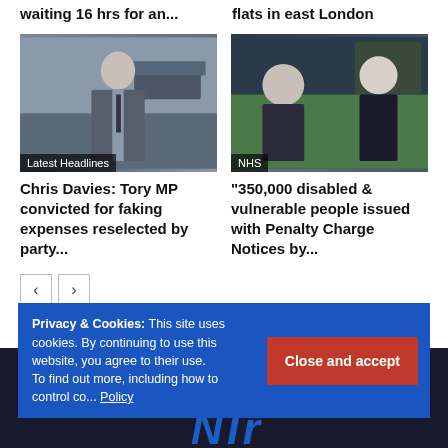waiting 16 hrs for an...
flats in east London
[Figure (photo): Man in grey suit walking on street, labeled Latest Headlines]
[Figure (photo): Two politicians in parliament setting, labeled NHS]
Chris Davies: Tory MP convicted for faking expenses reselected by party...
“350,000 disabled & vulnerable people issued with Penalty Charge Notices by...
Privacy & Cookies: This site uses cookies. By continuing to use this website, you agree to their use.
To find out more, including how to control co... Policy
Close and accept